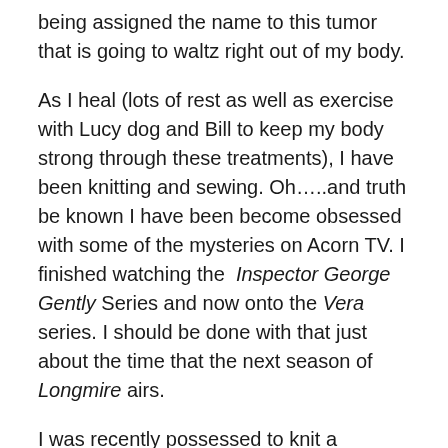being assigned the name to this tumor that is going to waltz right out of my body.
As I heal (lots of rest as well as exercise with Lucy dog and Bill to keep my body strong through these treatments), I have been knitting and sewing. Oh…..and truth be known I have been become obsessed with some of the mysteries on Acorn TV. I finished watching the Inspector George Gently Series and now onto the Vera series. I should be done with that just about the time that the next season of Longmire airs.
I was recently possessed to knit a slouchy hat to add to the collection of wonderful hats that I have received. The pattern of inspiration for this top-down knit was featured on page 122 of 60 Quick Luxury Knits from Casade Yarns. As I often do, I see a pattern and then I make